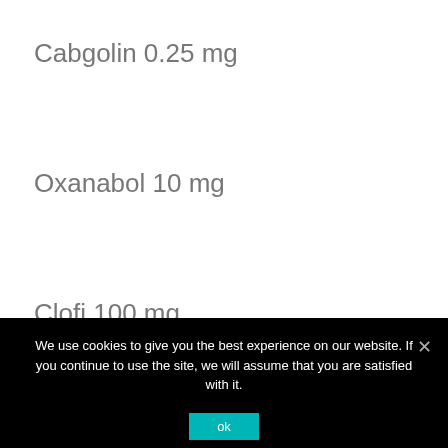Cabgolin 0.25 mg
Oxanabol 10 mg
Clofi 100 mg
We use cookies to give you the best experience on our website. If you continue to use the site, we will assume that you are satisfied with it.